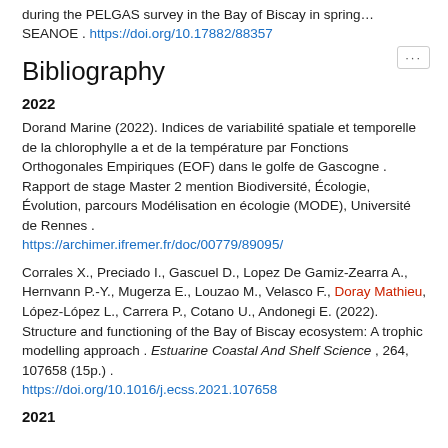during the PELGAS survey in the Bay of Biscay in spring… SEANOE . https://doi.org/10.17882/88357
Bibliography
2022
Dorand Marine (2022). Indices de variabilité spatiale et temporelle de la chlorophylle a et de la température par Fonctions Orthogonales Empiriques (EOF) dans le golfe de Gascogne . Rapport de stage Master 2 mention Biodiversité, Écologie, Évolution, parcours Modélisation en écologie (MODE), Université de Rennes . https://archimer.ifremer.fr/doc/00779/89095/
Corrales X., Preciado I., Gascuel D., Lopez De Gamiz-Zearra A., Hernvann P.-Y., Mugerza E., Louzao M., Velasco F., Doray Mathieu, López-López L., Carrera P., Cotano U., Andonegi E. (2022). Structure and functioning of the Bay of Biscay ecosystem: A trophic modelling approach . Estuarine Coastal And Shelf Science , 264, 107658 (15p.) . https://doi.org/10.1016/j.ecss.2021.107658
2021